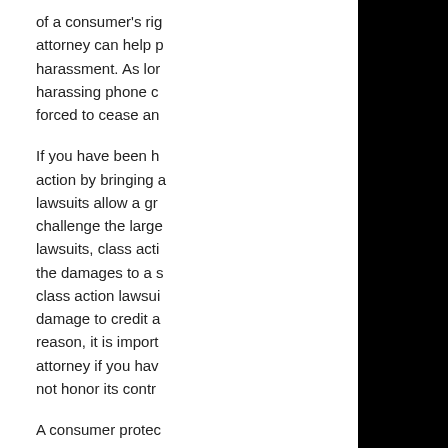of a consumer's rig attorney can help p harassment. As lor harassing phone c forced to cease an

If you have been h action by bringing a lawsuits allow a gr challenge the large lawsuits, class acti the damages to a s class action lawsui damage to credit a reason, it is import attorney if you hav not honor its contr

A consumer protec